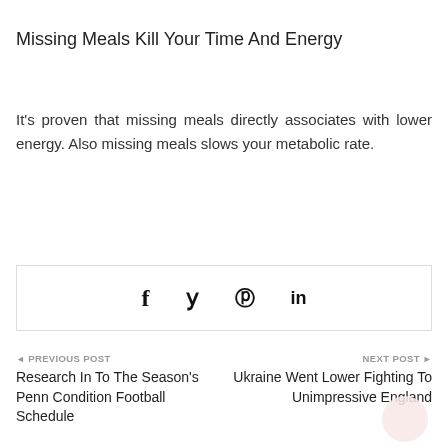Missing Meals Kill Your Time And Energy
It's proven that missing meals directly associates with lower energy. Also missing meals slows your metabolic rate.
[Figure (other): Social sharing icons: Facebook (f), Twitter (bird), Pinterest (P), LinkedIn (in)]
◄ PREVIOUS POST
Research In To The Season's Penn Condition Football Schedule
NEXT POST ►
Ukraine Went Lower Fighting To Unimpressive England